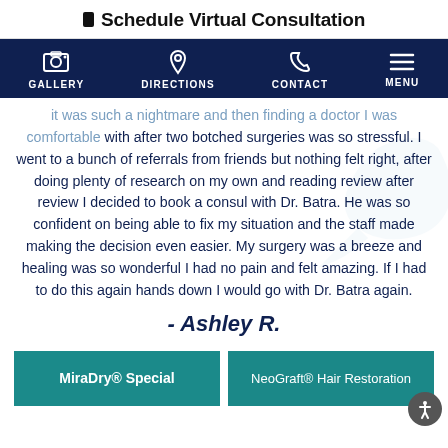Schedule Virtual Consultation
[Figure (infographic): Navigation bar with dark navy background showing four icon+label items: GALLERY (camera icon), DIRECTIONS (map pin icon), CONTACT (phone icon), MENU (hamburger icon)]
it was such a nightmare and then finding a doctor I was comfortable with after two botched surgeries was so stressful. I went to a bunch of referrals from friends but nothing felt right, after doing plenty of research on my own and reading review after review I decided to book a consul with Dr. Batra. He was so confident on being able to fix my situation and the staff made making the decision even easier. My surgery was a breeze and healing was so wonderful I had no pain and felt amazing. If I had to do this again hands down I would go with Dr. Batra again.
- Ashley R.
MiraDry® Special
NeoGraft® Hair Restoration